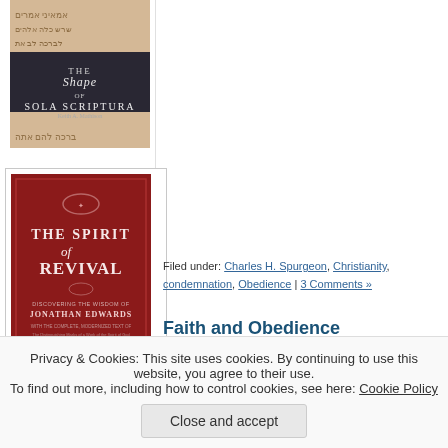[Figure (photo): Book cover: 'The Shape of Sola Scriptura' with Hebrew text background]
[Figure (photo): Book cover: 'The Spirit of Revival' by Jonathan Edwards, red cover]
Filed under: Charles H. Spurgeon, Christianity, condemnation, Obedience | 3 Comments »
Faith and Obedience
Posted on Friday, June 14, 2013 by Samuel
A. W. Tozer:
“The Bible recognizes no faith that does not produce obedience, nor does it recognize an obedience that does not spring from faith. The two
Privacy & Cookies: This site uses cookies. By continuing to use this website, you agree to their use. To find out more, including how to control cookies, see here: Cookie Policy
Close and accept